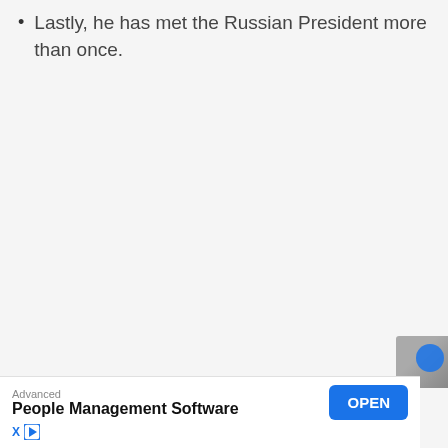Lastly, he has met the Russian President more than once.
Advanced
People Management Software
OPEN